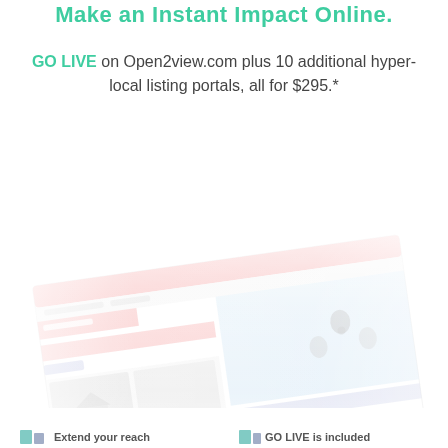Make an Instant Impact Online.
GO LIVE on Open2view.com plus 10 additional hyper-local listing portals, all for $295.*
[Figure (screenshot): Faded/watermark-style screenshot of a real estate listing website interface showing property listings with a map view, location markers, property photos, and UI elements in red/pink, blue, and gray tones. The screenshot is rotated slightly and fades into white.]
Extend your reach
GO LIVE is included